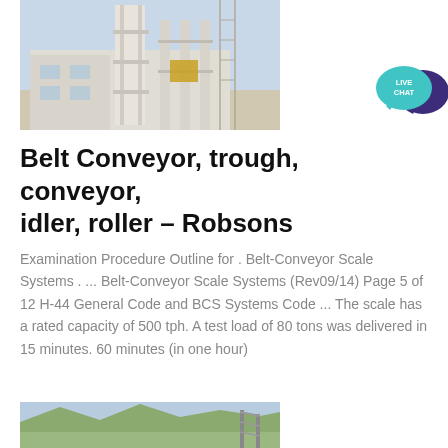[Figure (photo): Industrial building/plant structure with concrete pillars and scaffolding, construction site photo]
[Figure (illustration): Live Chat button icon — teal speech bubble with 'LIVE CHAT' text and dark purple chat bubble behind]
Belt Conveyor, trough, conveyor, idler, roller – Robsons
Examination Procedure Outline for . Belt-Conveyor Scale Systems . ... Belt-Conveyor Scale Systems (Rev09/14) Page 5 of 12 H-44 General Code and BCS Systems Code ... The scale has a rated capacity of 500 tph. A test load of 80 tons was delivered in 15 minutes. 60 minutes (in one hour)
[Figure (photo): Landscape photo of mountains and greenery with a conveyor bridge/trestle structure visible on the right]